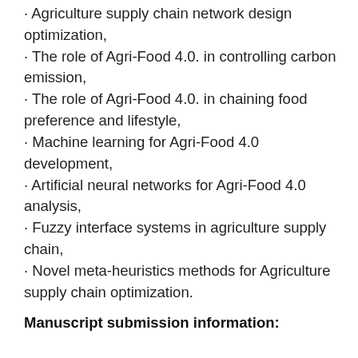· Agriculture supply chain network design optimization,
· The role of Agri-Food 4.0. in controlling carbon emission,
· The role of Agri-Food 4.0. in chaining food preference and lifestyle,
· Machine learning for Agri-Food 4.0 development,
· Artificial neural networks for Agri-Food 4.0 analysis,
· Fuzzy interface systems in agriculture supply chain,
· Novel meta-heuristics methods for Agriculture supply chain optimization.
Manuscript submission information: